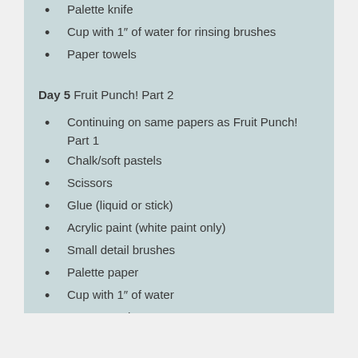Palette knife
Cup with 1″ of water for rinsing brushes
Paper towels
Day 5 Fruit Punch! Part 2
Continuing on same papers as Fruit Punch! Part 1
Chalk/soft pastels
Scissors
Glue (liquid or stick)
Acrylic paint (white paint only)
Small detail brushes
Palette paper
Cup with 1″ of water
Paper towels